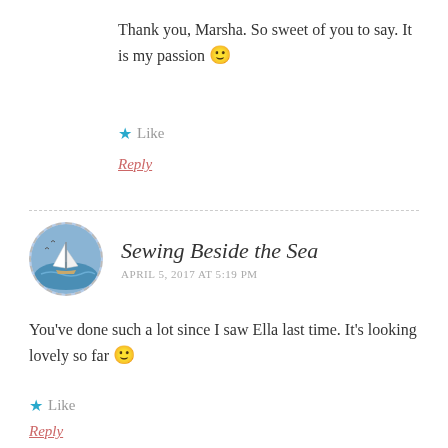Thank you, Marsha. So sweet of you to say. It is my passion 🙂
★ Like
Reply
Sewing Beside the Sea
APRIL 5, 2017 AT 5:19 PM
You've done such a lot since I saw Ella last time. It's looking lovely so far 🙂
★ Like
Reply